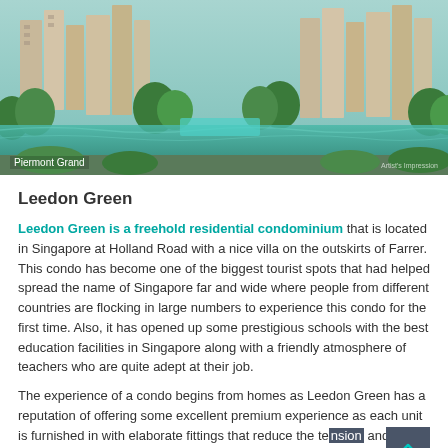[Figure (photo): Aerial/elevated view of Piermont Grand condominium with water feature/canal and lush greenery surroundings]
Leedon Green
Leedon Green is a freehold residential condominium that is located in Singapore at Holland Road with a nice villa on the outskirts of Farrer. This condo has become one of the biggest tourist spots that had helped spread the name of Singapore far and wide where people from different countries are flocking in large numbers to experience this condo for the first time. Also, it has opened up some prestigious schools with the best education facilities in Singapore along with a friendly atmosphere of teachers who are quite adept at their job.
The experience of a condo begins from homes as Leedon Green has a reputation of offering some excellent premium experience as each unit is furnished in with elaborate fittings that reduce the tension and stress of moving into a new house.
It lies adjacent to the Botanical Gardens and Commonwealth